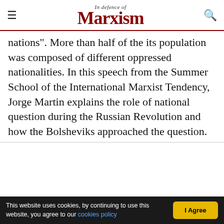In defence of Marxism
nations". More than half of the its population was composed of different oppressed nationalities. In this speech from the Summer School of the International Marxist Tendency, Jorge Martin explains the role of national question during the Russian Revolution and how the Bolsheviks approached the question.
This website uses cookies, by continuing to use this website, you agree to our cookies policy  |  I Agree